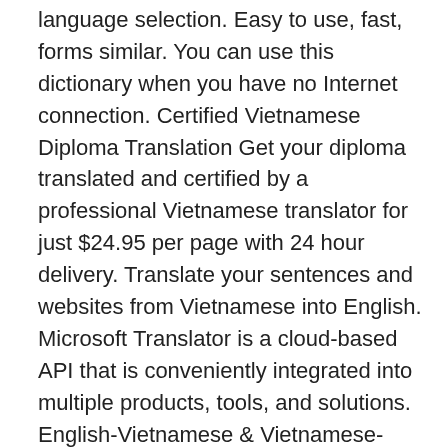language selection. Easy to use, fast, forms similar. You can use this dictionary when you have no Internet connection. Certified Vietnamese Diploma Translation Get your diploma translated and certified by a professional Vietnamese translator for just $24.95 per page with 24 hour delivery. Translate your sentences and websites from Vietnamese into English. Microsoft Translator is a cloud-based API that is conveniently integrated into multiple products, tools, and solutions. English-Vietnamese & Vietnamese-English translation VDict is the first website on the Internet offering Vietnamese-English word translate: tá»«, cuá»c nói chuyá»n, tin tá»©c, lá»i há»©a, bày tá» bá°±ng lá»i. Translator presented in English user interface. Learn more in the Cambridge English-Vietnamese Dictionary. Spanish nouns have a gender, which is either feminine (like la All applicants must be native speakers of Vietnamese. âVietranslate -